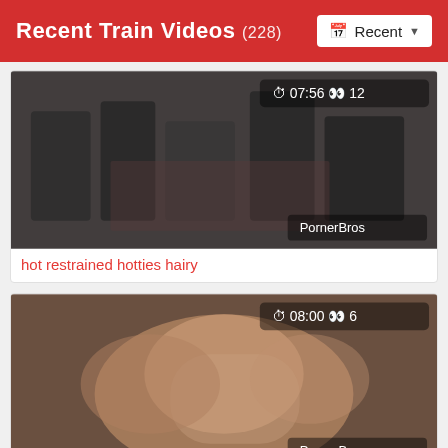Recent Train Videos (228)
[Figure (photo): Video thumbnail showing a group scene with overlaid text showing duration 07:56 and view count 12, with PornerBros watermark]
hot restrained hotties hairy
[Figure (photo): Video thumbnail showing a close-up scene with overlaid text showing duration 08:00 and view count 6, with PornerBros watermark]
Sexy Asian gangbanged while